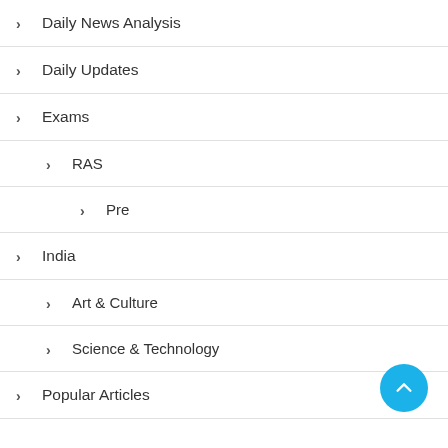> Daily News Analysis
> Daily Updates
> Exams
> RAS
> Pre
> India
> Art & Culture
> Science & Technology
> Popular Articles